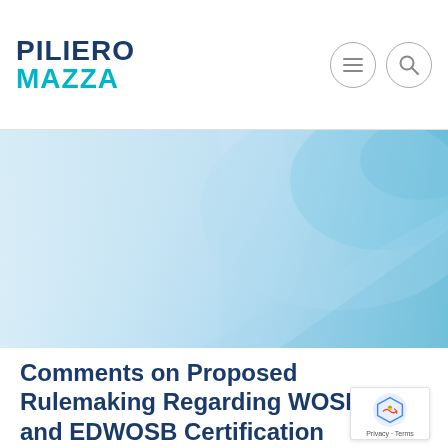PILIERO MAZZA
[Figure (illustration): Abstract blue and white gradient banner image with light geometric shapes]
Comments on Proposed Rulemaking Regarding WOSB and EDWOSB Certification